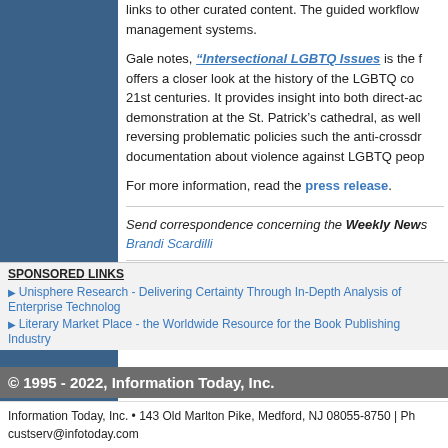links to other curated content. The guided workflow management systems.
Gale notes, "Intersectional LGBTQ Issues is the f... offers a closer look at the history of the LGBTQ co... 21st centuries. It provides insight into both direct-ac... demonstration at the St. Patrick's cathedral, as well... reversing problematic policies such the anti-crossdr... documentation about violence against LGBTQ peop...
For more information, read the press release.
Send correspondence concerning the Weekly News... Brandi Scardilli
Ctrl + p to print   Ctrl + D to bookmark
SPONSORED LINKS
Unisphere Research - Delivering Certainty Through In-Depth Analysis of Enterprise Technolog...
Literary Market Place - the Worldwide Resource for the Book Publishing Industry
© 1995 - 2022, Information Today, Inc.
Information Today, Inc. • 143 Old Marlton Pike, Medford, NJ 08055-8750 | Ph... custserv@infotoday.com